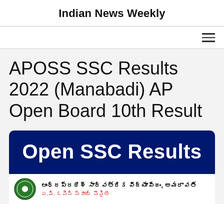Indian News Weekly
APOSS SSC Results 2022 (Manabadi) AP Open Board 10th Result
[Figure (infographic): Blue banner with white bold text reading 'Open SSC Results', followed by a sub-banner showing the Andhra Pradesh government education board logo with Telugu text 'ఆంధ్రప్రదేశ్ సార్వత్రిక విద్యాపీఠం, అమరావతి' and red subtitle text below.]